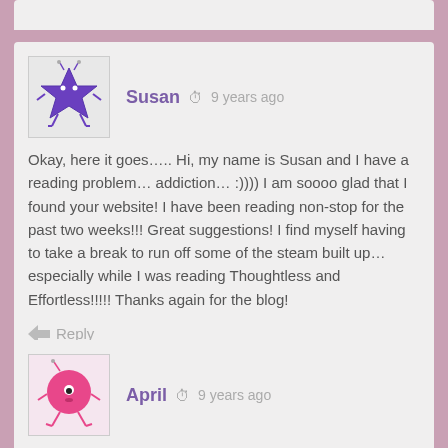[Figure (illustration): Purple star-shaped cartoon avatar for Susan]
Susan  9 years ago
Okay, here it goes….. Hi, my name is Susan and I have a reading problem… addiction… :)))) I am soooo glad that I found your website! I have been reading non-stop for the past two weeks!!! Great suggestions! I find myself having to take a break to run off some of the steam built up… especially while I was reading Thoughtless and Effortless!!!!! Thanks again for the blog!
Reply
[Figure (illustration): Pink round cartoon avatar for April]
April  9 years ago
Oh I feel like I should be in counseling after reading this